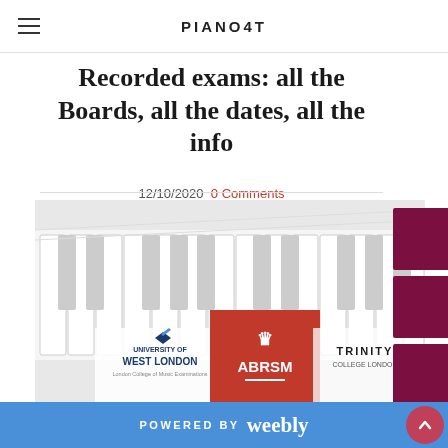PIANO4T
Recorded exams: all the Boards, all the dates, all the info
12/10/2020  0 Comments
[Figure (illustration): Piano keys image with logos of University of West London (London College of Music Examinations), ABRSM, and Trinity College London overlaid]
London College of Music (LCM) Recorded exams are av...
POWERED BY weebly